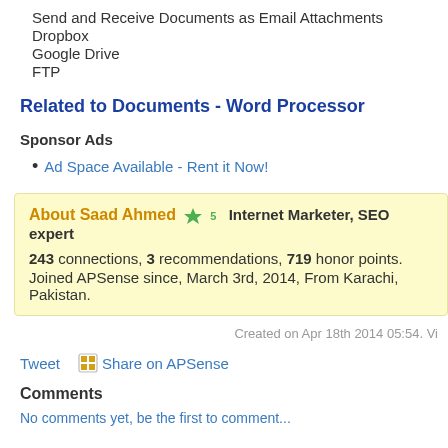Send and Receive Documents as Email Attachments
Dropbox
Google Drive
FTP
Related to Documents - Word Processor
Sponsor Ads
Ad Space Available - Rent it Now!
About Saad Ahmed  Internet Marketer, SEO expert
243 connections, 3 recommendations, 719 honor points.
Joined APSense since, March 3rd, 2014, From Karachi, Pakistan.
Created on Apr 18th 2014 05:54. Vi
Tweet   Share on APSense
Comments
No comments yet, be the first to comment...